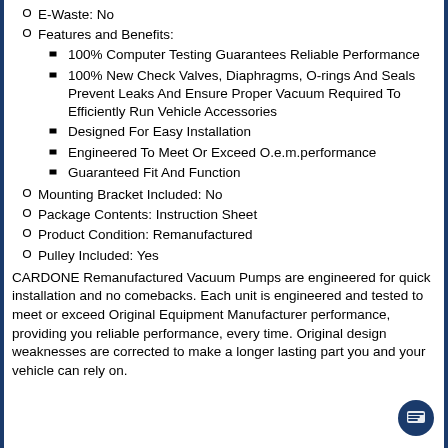E-Waste: No
Features and Benefits:
100% Computer Testing Guarantees Reliable Performance
100% New Check Valves, Diaphragms, O-rings And Seals Prevent Leaks And Ensure Proper Vacuum Required To Efficiently Run Vehicle Accessories
Designed For Easy Installation
Engineered To Meet Or Exceed O.e.m.performance
Guaranteed Fit And Function
Mounting Bracket Included: No
Package Contents: Instruction Sheet
Product Condition: Remanufactured
Pulley Included: Yes
CARDONE Remanufactured Vacuum Pumps are engineered for quick installation and no comebacks. Each unit is engineered and tested to meet or exceed Original Equipment Manufacturer performance, providing you reliable performance, every time. Original design weaknesses are corrected to make a longer lasting part you and your vehicle can rely on.